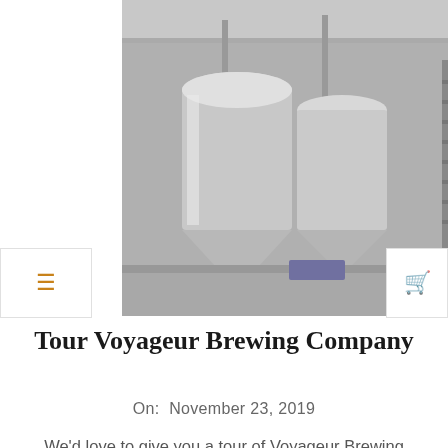[Figure (photo): Interior of Voyageur Brewing Company showing large stainless steel brewing tanks and equipment in an industrial facility]
Tour Voyageur Brewing Company
On:  November 23, 2019
We'd love to give you a tour of Voyageur Brewing Company and show you how we make our craft beer in Grand Marais, Minnesota. We offer tours on most Saturdays beginning at 11:00am. No payment is necessary at the time